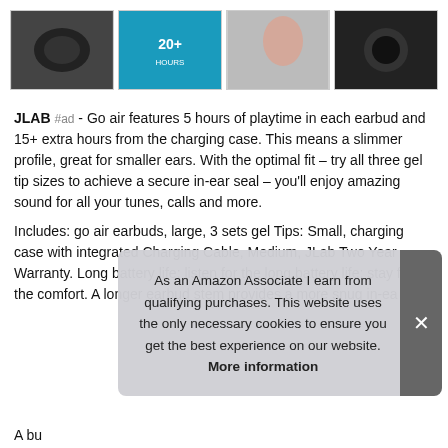[Figure (photo): Four product thumbnail images of JLab Go Air earbuds in a row: black case on white background, blue product box with '20+' text, woman wearing earbuds on light background, single black earbud on dark background]
JLAB #ad - Go air features 5 hours of playtime in each earbud and 15+ extra hours from the charging case. This means a slimmer profile, great for smaller ears. With the optimal fit – try all three gel tip sizes to achieve a secure in-ear seal – you'll enjoy amazing sound for all your tunes, calls and more.
Includes: go air earbuds, large, 3 sets gel Tips: Small, charging case with integrated Charging Cable, Medium, JLab Two Year Warranty. Long battery life: listen for the long battery life; stay for the comfort. A longer earbud stem provides a more snug in-ea
As an Amazon Associate I earn from qualifying purchases. This website uses the only necessary cookies to ensure you get the best experience on our website. More information
A bu